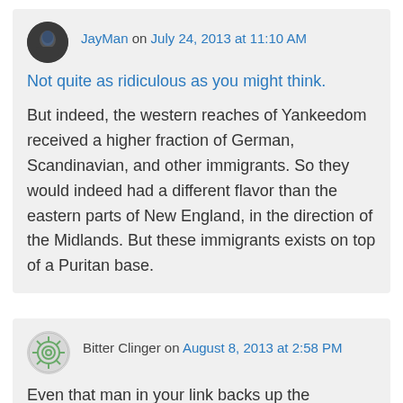JayMan on July 24, 2013 at 11:10 AM
Not quite as ridiculous as you might think.
But indeed, the western reaches of Yankeedom received a higher fraction of German, Scandinavian, and other immigrants. So they would indeed had a different flavor than the eastern parts of New England, in the direction of the Midlands. But these immigrants exists on top of a Puritan base.
Bitter Clinger on August 8, 2013 at 2:58 PM
Even that man in your link backs up the